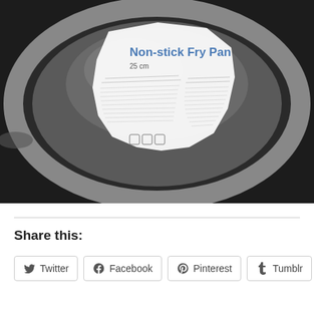[Figure (photo): A non-stick fry pan (25 cm) viewed from above showing the bottom of the pan with a label partially peeled, displaying 'Non-stick Fry Pan' and '25 cm' text on a white label against a silver metallic pan surface.]
Share this:
Twitter
Facebook
Pinterest
Tumblr
Email